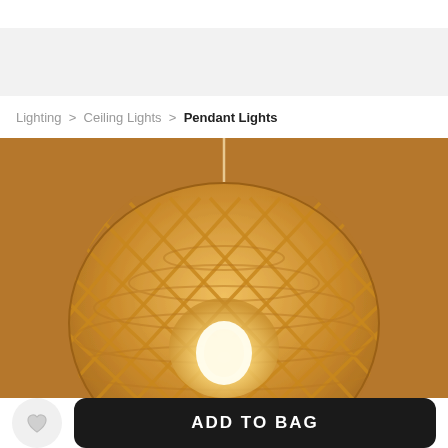Lighting > Ceiling Lights > Pendant Lights
[Figure (photo): A woven rattan/bamboo dome-shaped pendant light shade with a warm glowing bulb inside, hanging from a thin cord against a tan/brown background.]
ADD TO BAG